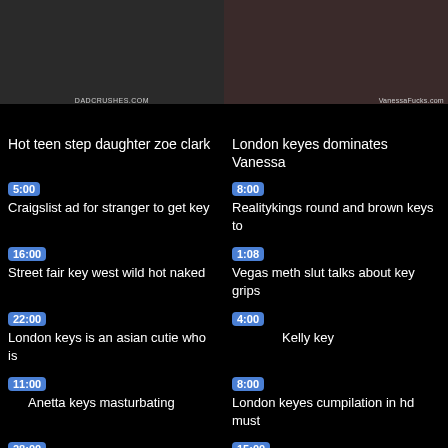[Figure (screenshot): Video thumbnail - left top, dark scene, dadcrushes.com watermark]
[Figure (screenshot): Video thumbnail - right top, blonde on red couch, vanessafucks.com watermark]
Hot teen step daughter zoe clark
London keyes dominates Vanessa
5:00
Craigslist ad for stranger to get key
8:00
Realitykings round and brown keys to
16:00
Street fair key west wild hot naked
1:08
Vegas meth slut talks about key grips
22:00
London keys is an asian cutie who is
4:00
Kelly key
11:00
Anetta keys masturbating
8:00
London keyes cumpilation in hd must
28:00
London keys harder fuck by digao
15:00
Key west fantasy fest festival part 2